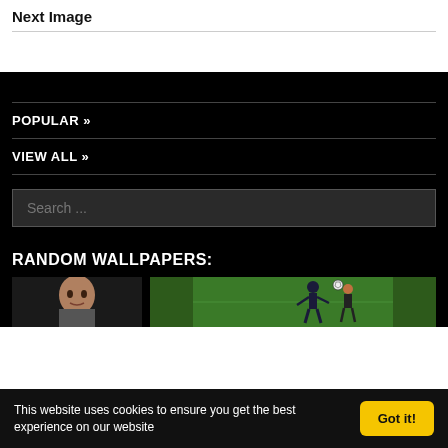Next Image
POPULAR »
VIEW ALL »
Search ...
RANDOM WALLPAPERS:
[Figure (photo): Thumbnail of a person's face, dark background]
[Figure (photo): Soccer/football action photo with green field background, player with ball]
This website uses cookies to ensure you get the best experience on our website
Got it!